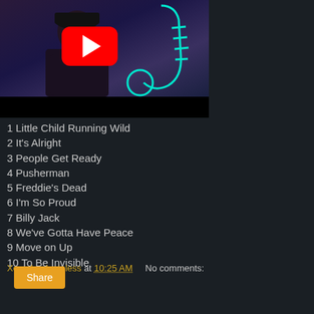[Figure (screenshot): YouTube video thumbnail showing a musician with a saxophone graphic overlay and red YouTube play button]
1 Little Child Running Wild
2 It's Alright
3 People Get Ready
4 Pusherman
5 Freddie's Dead
6 I'm So Proud
7 Billy Jack
8 We've Gotta Have Peace
9 Move on Up
10 To Be Invisible
Xeyedandpainless at 10:25 AM   No comments:
Share